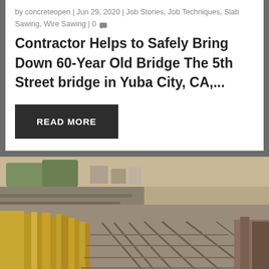by concreteopen | Jun 29, 2020 | Job Stories, Job Techniques, Slab Sawing, Wire Sawing | 0
Contractor Helps to Safely Bring Down 60-Year Old Bridge The 5th Street bridge in Yuba City, CA,...
READ MORE
[Figure (photo): Aerial/elevated view of a rail yard with multiple tracks and yellow concrete formwork or bridge sections along the left side, with a road and city in the background.]